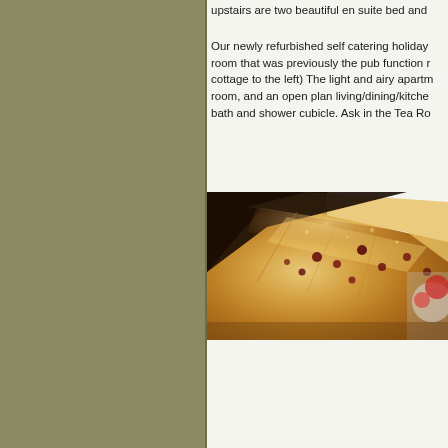upstairs are two beautiful en suite bed and...
Our newly refurbished self catering holiday room that was previously the pub function r... cottage to the left) The light and airy apartm... room, and an open plan living/dining/kitche... bath and shower cubicle. Ask in the Tea Ro...
[Figure (photo): Close-up photo of a freshly baked scone with visible fruit pieces (cranberries or raisins), golden-brown crust, with cream and jam visible in the background]